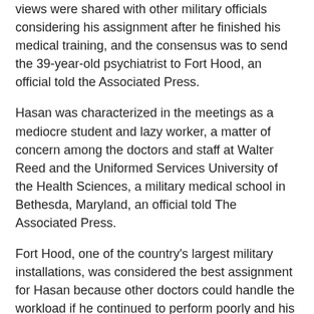views were shared with other military officials considering his assignment after he finished his medical training, and the consensus was to send the 39-year-old psychiatrist to Fort Hood, an official told the Associated Press.
Hasan was characterized in the meetings as a mediocre student and lazy worker, a matter of concern among the doctors and staff at Walter Reed and the Uniformed Services University of the Health Sciences, a military medical school in Bethesda, Maryland, an official told The Associated Press.
Fort Hood, one of the country's largest military installations, was considered the best assignment for Hasan because other doctors could handle the workload if he continued to perform poorly and his superiors could document any continued behavior problems, the official said.
Sharon Willis, a spokeswoman for the Uniformed Services University, referred questions Wednesday about Hasan to his lawyer. The attorney, John Galligan of Belton, Texas, did not immediately return a telephone call seeking comment.